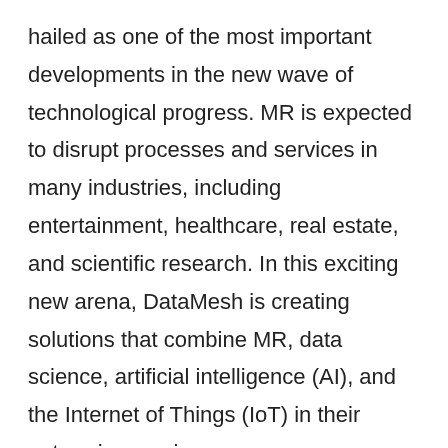hailed as one of the most important developments in the new wave of technological progress. MR is expected to disrupt processes and services in many industries, including entertainment, healthcare, real estate, and scientific research. In this exciting new arena, DataMesh is creating solutions that combine MR, data science, artificial intelligence (AI), and the Internet of Things (IoT) in their enterprise services.
DataMesh's pavilion at the trade show wowed visitors, reporters and children with a demo of their 'Live!' system, and DataMesh groundbreaking MR applications, including a visualized AI asset manager.
The Live! MR system makes MR more accessible to